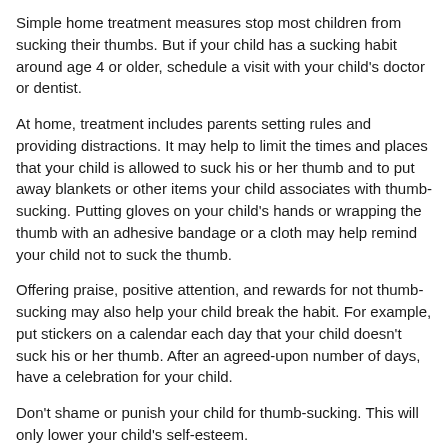Simple home treatment measures stop most children from sucking their thumbs. But if your child has a sucking habit around age 4 or older, schedule a visit with your child's doctor or dentist.
At home, treatment includes parents setting rules and providing distractions. It may help to limit the times and places that your child is allowed to suck his or her thumb and to put away blankets or other items your child associates with thumb-sucking. Putting gloves on your child's hands or wrapping the thumb with an adhesive bandage or a cloth may help remind your child not to suck the thumb.
Offering praise, positive attention, and rewards for not thumb-sucking may also help your child break the habit. For example, put stickers on a calendar each day that your child doesn't suck his or her thumb. After an agreed-upon number of days, have a celebration for your child.
Don't shame or punish your child for thumb-sucking. This will only lower your child's self-esteem.
If home treatment doesn't work and you are concerned or feel frustrated about your child's thumb-sucking, talk with your child's doctor. There may be other treatment options, such as behavioural therapy, that a doctor or dentist can recommend.